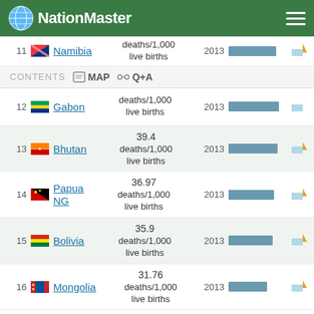NationMaster
11 Namibia deaths/1,000 live births 2013
CONTENTS MAP Q+A
12 Gabon deaths/1,000 live births 2013
13 Bhutan 39.4 deaths/1,000 live births 2013
14 Papua NG 36.97 deaths/1,000 live births 2013
15 Bolivia 35.9 deaths/1,000 live births 2013
16 Mongolia 31.76 deaths/1,000 live births 2013